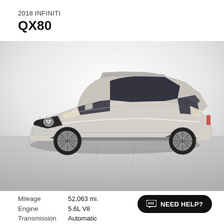2018 INFINITI QX80
[Figure (photo): 2018 INFINITI QX80 silver/champagne SUV photographed in three-quarter front view on a gray tiled floor with white gradient background]
Mileage	52,063 mi.
Engine	5.6L V8
Transmission	Automatic
NEED HELP?